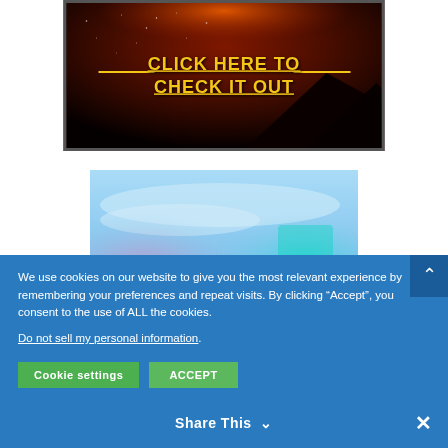[Figure (photo): Dark starry night sky with reddish glow and mountain silhouette. Yellow bold underlined text reads 'CLICK HERE TO CHECK IT OUT' with decorative lines.]
[Figure (photo): Colorful blurred sky image with glowing pink, teal and blue light blobs. White bold text reads 'HAVING ONE' with partial second line cut off.]
We use cookies on our website to give you the most relevant experience by remembering your preferences and repeat visits. By clicking “Accept”, you consent to the use of ALL the cookies.
Do not sell my personal information.
Cookie settings   ACCEPT
Share This ⌄